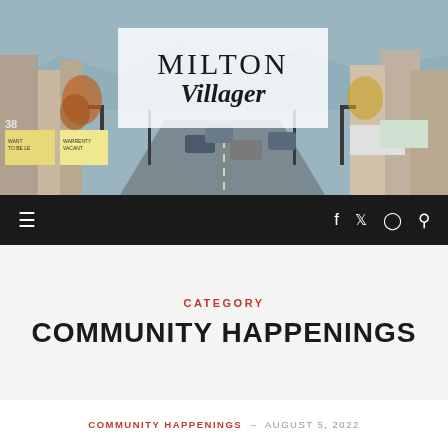[Figure (photo): Aerial street view of Milton town center with cars, lamp posts, buildings, and mountains in background. Semi-transparent white overlay box with 'Milton Villager' logo text in serif font.]
≡  f  𝕏  ◻  🔍
CATEGORY
COMMUNITY HAPPENINGS
COMMUNITY HAPPENINGS – AUGUST 5, 2022